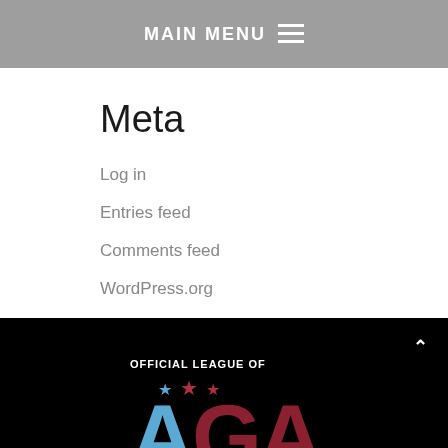MAIN MENU
Meta
Log in
Entries feed
Comments feed
WordPress.org
[Figure (logo): AGA Official League of logo with blue and red letters A, G, A and three stars above on black background]